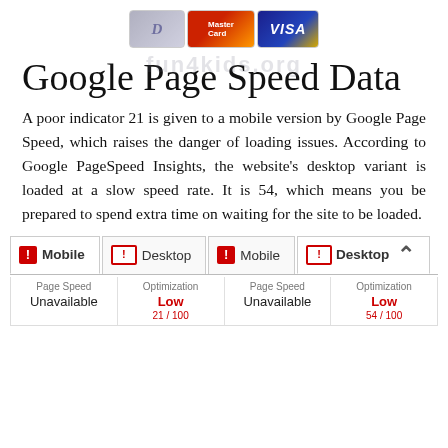[Figure (logo): Payment card logos: Diners Club, MasterCard, Visa]
Google Page Speed Data
A poor indicator 21 is given to a mobile version by Google Page Speed, which raises the danger of loading issues. According to Google PageSpeed Insights, the website's desktop variant is loaded at a slow speed rate. It is 54, which means you be prepared to spend extra time on waiting for the site to be loaded.
| Mobile Page Speed | Mobile Optimization | Desktop Page Speed | Desktop Optimization |
| --- | --- | --- | --- |
| Unavailable | Low
21 / 100 | Unavailable | Low
54 / 100 |